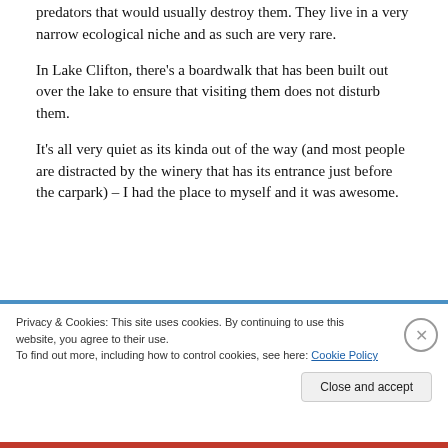predators that would usually destroy them. They live in a very narrow ecological niche and as such are very rare.
In Lake Clifton, there's a boardwalk that has been built out over the lake to ensure that visiting them does not disturb them.
It's all very quiet as its kinda out of the way (and most people are distracted by the winery that has its entrance just before the carpark) – I had the place to myself and it was awesome.
Privacy & Cookies: This site uses cookies. By continuing to use this website, you agree to their use.
To find out more, including how to control cookies, see here: Cookie Policy
Close and accept